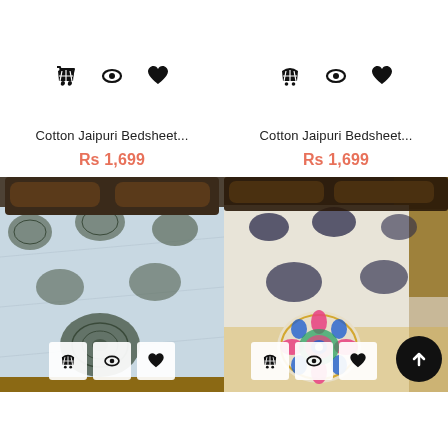[Figure (screenshot): E-commerce product listing page showing two Cotton Jaipuri Bedsheet products with icons (basket, eye, heart), prices in Rs 1,699 each, and product photos of patterned bedspreads.]
Cotton Jaipuri Bedsheet...
Rs 1,699
Cotton Jaipuri Bedsheet...
Rs 1,699